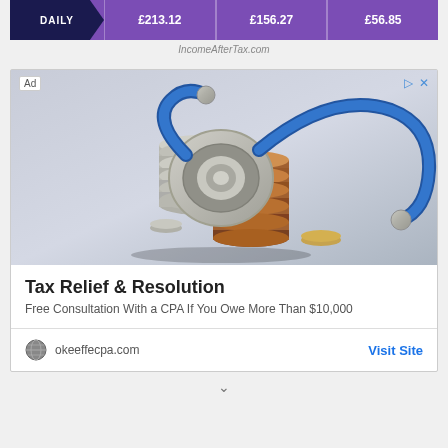| DAILY | £213.12 | £156.27 | £56.85 |
| --- | --- | --- | --- |
IncomeAfterTax.com
[Figure (photo): Advertisement banner showing stethoscope resting on stacked coins with blue background, for Tax Relief & Resolution CPA services]
Tax Relief & Resolution
Free Consultation With a CPA If You Owe More Than $10,000
okeeffecpa.com  Visit Site